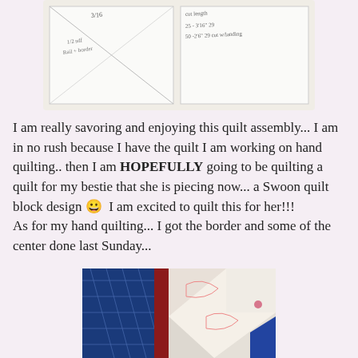[Figure (photo): Handwritten notes on white paper showing quilt measurements and diagrams with triangular shapes]
I am really savoring and enjoying this quilt assembly... I am in no rush because I have the quilt I am working on hand quilting.. then I am HOPEFULLY going to be quilting a quilt for my bestie that she is piecing now... a Swoon quilt block design 😀  I am excited to quilt this for her!!!
As for my hand quilting... I got the border and some of the center done last Sunday...
[Figure (photo): Close-up photo of a quilt showing blue fabric with diamond quilting pattern, red strip, and patchwork with floral and geometric designs]